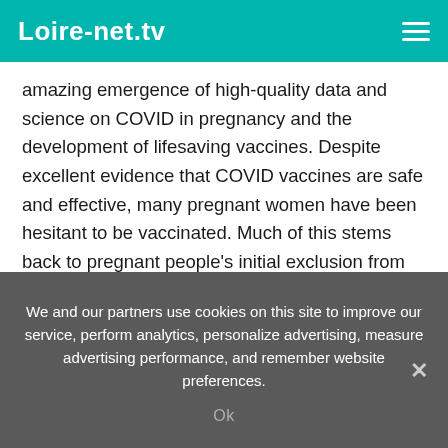Loire-net.tv
amazing emergence of high-quality data and science on COVID in pregnancy and the development of lifesaving vaccines. Despite excellent evidence that COVID vaccines are safe and effective, many pregnant women have been hesitant to be vaccinated. Much of this stems back to pregnant people's initial exclusion from vaccine trials.
However, we now have a fund of research that supports the idea that the vaccine is safe and effective in pregnancy, while COVID during pregnancy can lead to worse maternal and fetal outcomes. Still – I noticed that a lot of my patients were
We and our partners use cookies on this site to improve our service, perform analytics, personalize advertising, measure advertising performance, and remember website preferences.